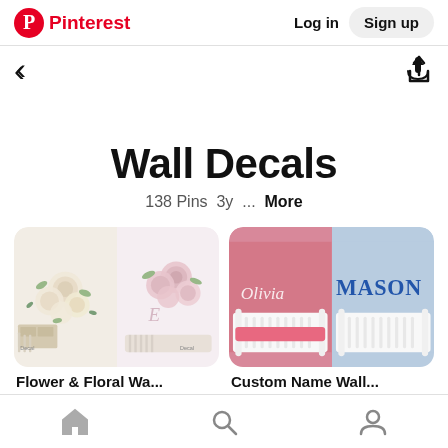Pinterest — Log in  Sign up
Wall Decals
138 Pins  3y  ...  More
[Figure (photo): Two floral wall decal images side by side showing peony/rose decals on walls above baby cribs. Caption: Flower & Floral Wa... 18 Pins]
[Figure (photo): Two custom name wall decal images side by side: 'Olivia' script on pink wall and 'MASON' varsity letters on blue wall above baby cribs. Caption: Custom Name Wall... 11 Pins]
Home  Search  Profile